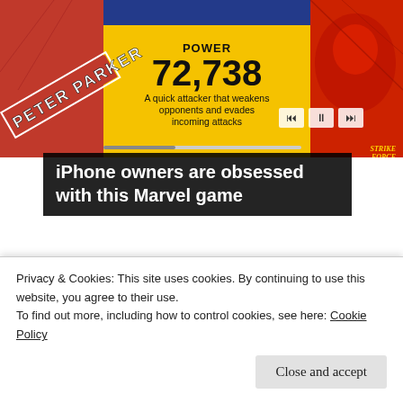[Figure (screenshot): Marvel Strike Force mobile game advertisement showing Spider-Man/Peter Parker with POWER 72,738 stat. Yellow background with comic-style art. Media playback controls visible. Strike Force logo bottom right.]
iPhone owners are obsessed with this Marvel game
[Figure (photo): Thumbnail photo of elderly woman in white dress with blue jewelry, standing near teal-colored door or wall.]
[Photos] Remember Ali MacGraw? This Is Her Net Worth.
Fruitiy
Privacy & Cookies: This site uses cookies. By continuing to use this website, you agree to their use.
To find out more, including how to control cookies, see here: Cookie Policy
Close and accept